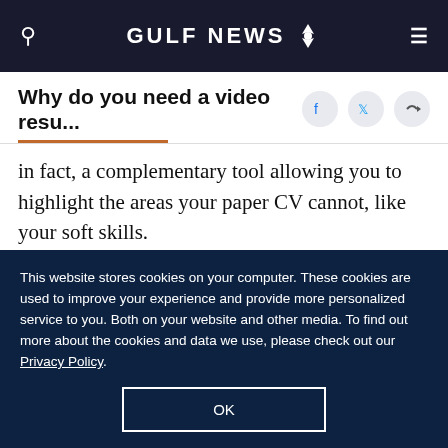GULF NEWS
Why do you need a video resu...
in fact, a complementary tool allowing you to highlight the areas your paper CV cannot, like your soft skills.
Today, more and more students are learning to prepare video resumes. In doing so, these candidates also reveal certain traits that are
This website stores cookies on your computer. These cookies are used to improve your experience and provide more personalized service to you. Both on your website and other media. To find out more about the cookies and data we use, please check out our Privacy Policy.